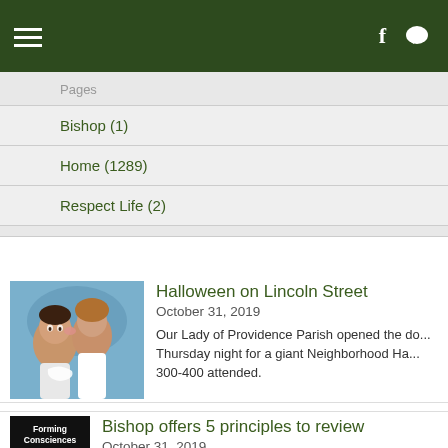Navigation bar with hamburger menu, Facebook icon, and chat icon
Pages
Bishop (1)
Home (1289)
Respect Life (2)
[Figure (photo): Two young children, one kissing the other on the cheek, wearing costumes]
Halloween on Lincoln Street
October 31, 2019
Our Lady of Providence Parish opened the do... Thursday night for a giant Neighborhood Ha... 300-400 attended.
[Figure (photo): Book cover: Forming Consciences]
Bishop offers 5 principles to review
October 31, 2019